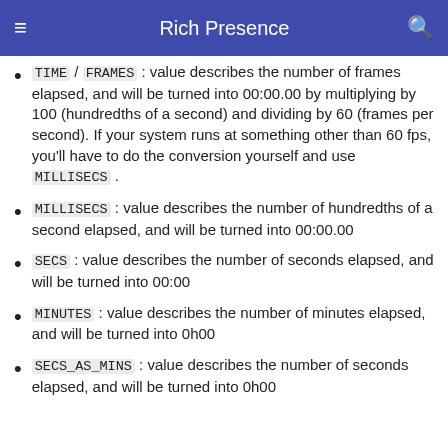Rich Presence
TIME / FRAMES : value describes the number of frames elapsed, and will be turned into 00:00.00 by multiplying by 100 (hundredths of a second) and dividing by 60 (frames per second). If your system runs at something other than 60 fps, you'll have to do the conversion yourself and use MILLISECS .
MILLISECS : value describes the number of hundredths of a second elapsed, and will be turned into 00:00.00
SECS : value describes the number of seconds elapsed, and will be turned into 00:00
MINUTES : value describes the number of minutes elapsed, and will be turned into 0h00
SECS_AS_MINS : value describes the number of seconds elapsed, and will be turned into 0h00